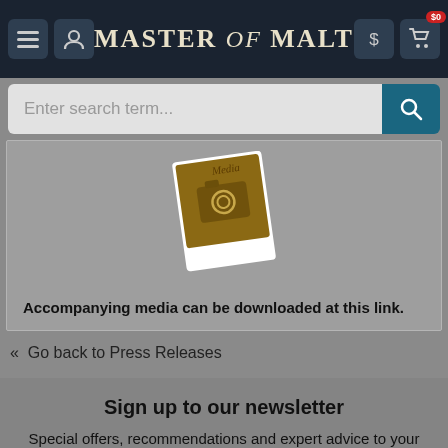[Figure (screenshot): Master of Malt website navigation bar with hamburger menu, user icon, logo, dollar sign and cart icons. Cart shows $0 badge.]
[Figure (screenshot): Search bar with 'Enter search term...' placeholder and teal search button with magnifying glass icon]
[Figure (photo): Media icon image - a polaroid-style card with camera icon and 'Media' text on brown background]
Accompanying media can be downloaded at this link.
« Go back to Press Releases
Sign up to our newsletter
Special offers, recommendations and expert advice to your inbox! Unsubscribe at any time.
[Figure (screenshot): Email input field with envelope icon and 'Enter email address' placeholder text]